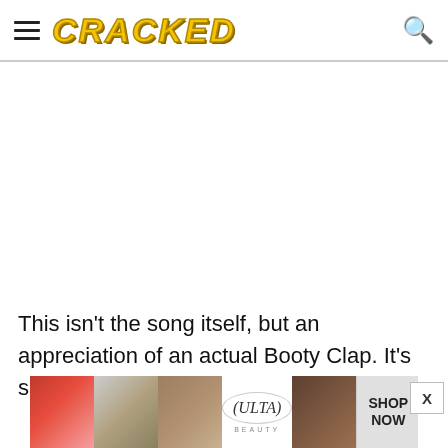CRACKED
[Figure (other): Large white/blank content area representing a video or image embed area]
This isn't the song itself, but an appreciation of an actual Booty Clap. It's safe-ish for work, unless you
[Figure (other): Ulta Beauty advertisement banner showing makeup imagery and SHOP NOW call to action]